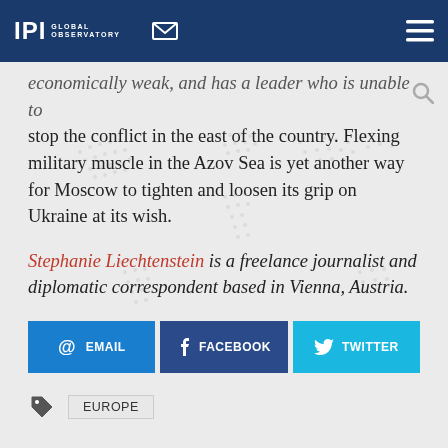IPI GLOBAL OBSERVATORY
economically weak, and has a leader who is unable to stop the conflict in the east of the country. Flexing military muscle in the Azov Sea is yet another way for Moscow to tighten and loosen its grip on Ukraine at its wish.
Stephanie Liechtenstein is a freelance journalist and diplomatic correspondent based in Vienna, Austria.
EMAIL   FACEBOOK   TWITTER
EUROPE